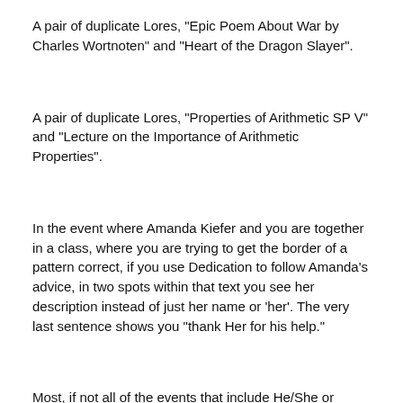A pair of duplicate Lores, "Epic Poem About War by Charles Wortnoten" and "Heart of the Dragon Slayer".
A pair of duplicate Lores, "Properties of Arithmetic SP V" and "Lecture on the Importance of Arithmetic Properties".
In the event where Amanda Kiefer and you are together in a class, where you are trying to get the border of a pattern correct, if you use Dedication to follow Amanda's advice, in two spots within that text you see her description instead of just her name or 'her'. The very last sentence shows you "thank Her for his help."
Most, if not all of the events that include He/She or Him/Her as links to a person, almost all of these words are capitalized, even if they are in the middle of a sentence.